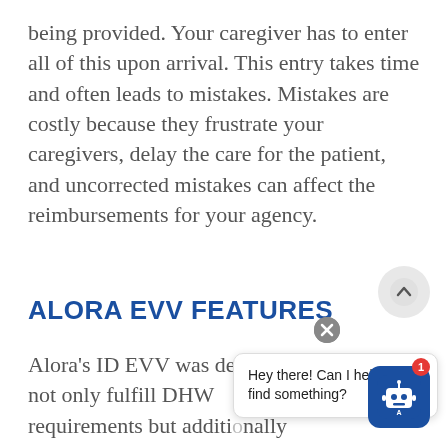being provided. Your caregiver has to enter all of this upon arrival. This entry takes time and often leads to mistakes. Mistakes are costly because they frustrate your caregivers, delay the care for the patient, and uncorrected mistakes can affect the reimbursements for your agency.
ALORA EVV FEATURES
Alora's ID EVV was designed to not only fulfill DHW requirements but additionally anticipate... of your visit workflow that may have
[Figure (screenshot): Chat widget overlay showing a chatbot bubble with text 'Hey there! Can I help you find something?' along with a scroll-to-top button and a robot chatbot icon with a red notification badge showing '1'.]